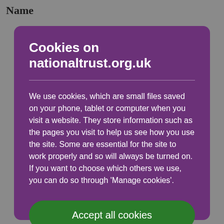Name
Cookies on nationaltrust.org.uk
We use cookies, which are small files saved on your phone, tablet or computer when you visit a website. They store information such as the pages you visit to help us see how you use the site. Some are essential for the site to work properly and so will always be turned on. If you want to choose which others we use, you can do so through 'Manage cookies'.
Accept all cookies
Manage cookies